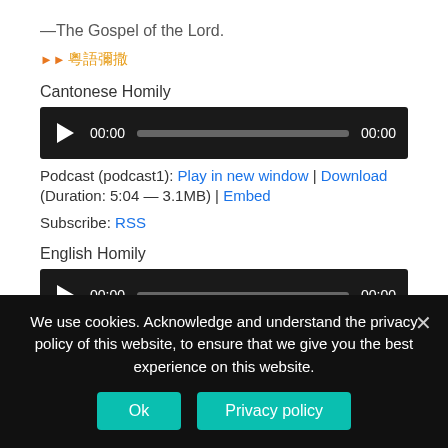—The Gospel of the Lord.
粵語彌撒
Cantonese Homily
[Figure (other): Audio player with play button, 00:00 timestamp, progress bar, and 00:00 end time on black background]
Podcast (podcast1): Play in new window | Download
(Duration: 5:04 — 3.1MB) | Embed
Subscribe: RSS
English Homily
[Figure (other): Audio player with play button, 00:00 timestamp, progress bar, and 00:00 end time on black background]
We use cookies. Acknowledge and understand the privacy policy of this website, to ensure that we give you the best experience on this website.